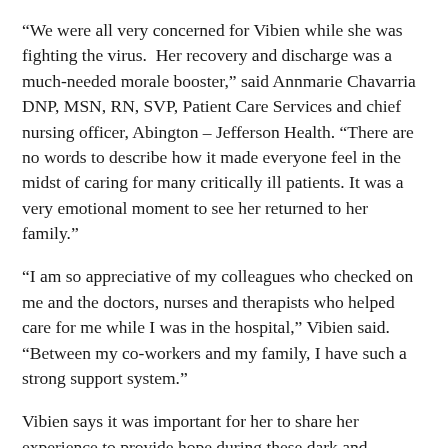“We were all very concerned for Vibien while she was fighting the virus.  Her recovery and discharge was a much-needed morale booster,” said Annmarie Chavarria DNP, MSN, RN, SVP, Patient Care Services and chief nursing officer, Abington – Jefferson Health. “There are no words to describe how it made everyone feel in the midst of caring for many critically ill patients. It was a very emotional moment to see her returned to her family.”
“I am so appreciative of my colleagues who checked on me and the doctors, nurses and therapists who helped care for me while I was in the hospital,” Vibien said. “Between my co-workers and my family, I have such a strong support system.”
Vibien says it was important for her to share her experience to provide hope during these dark and difficult times.